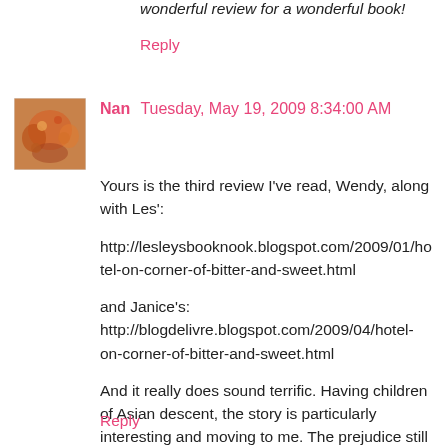wonderful review for a wonderful book!
Reply
[Figure (photo): Avatar thumbnail showing autumn foliage/orange leaves]
Nan  Tuesday, May 19, 2009 8:34:00 AM
Yours is the third review I've read, Wendy, along with Les':
http://lesleysbooknook.blogspot.com/2009/01/hotel-on-corner-of-bitter-and-sweet.html
and Janice's: http://blogdelivre.blogspot.com/2009/04/hotel-on-corner-of-bitter-and-sweet.html
And it really does sound terrific. Having children of Asian descent, the story is particularly interesting and moving to me. The prejudice still exists.
Thank you for such a thoughtful, kindly review.
Reply